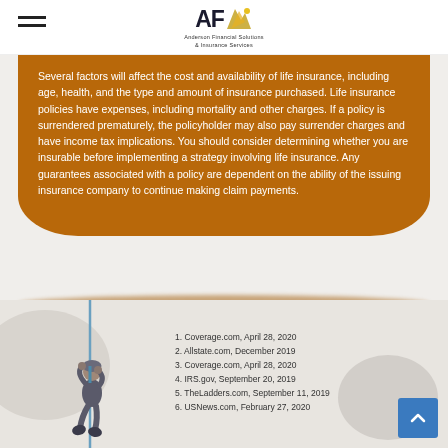Anderson Financial Solutions & Insurance Services
Several factors will affect the cost and availability of life insurance, including age, health, and the type and amount of insurance purchased. Life insurance policies have expenses, including mortality and other charges. If a policy is surrendered prematurely, the policyholder may also pay surrender charges and have income tax implications. You should consider determining whether you are insurable before implementing a strategy involving life insurance. Any guarantees associated with a policy are dependent on the ability of the issuing insurance company to continue making claim payments.
1. Coverage.com, April 28, 2020
2. Allstate.com, December 2019
3. Coverage.com, April 28, 2020
4. IRS.gov, September 20, 2019
5. TheLadders.com, September 11, 2019
6. USNews.com, February 27, 2020
[Figure (illustration): A person climbing a rope against a light beige background with decorative blob shapes]